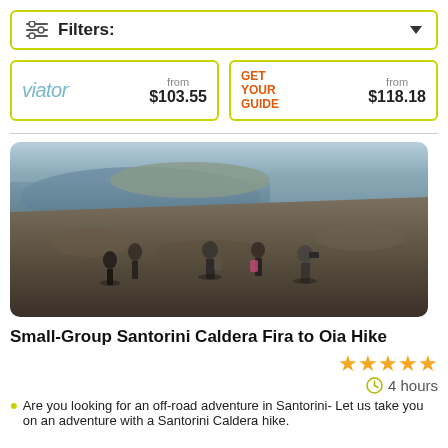Filters:
viator from $103.55
GET YOUR GUIDE from $118.18
[Figure (photo): Group of hikers on rocky hillside overlooking Santorini caldera and sea]
Small-Group Santorini Caldera Fira to Oia Hike
★★★★★
4 hours
Are you looking for an off-road adventure in Santorini- Let us take you on an adventure with a Santorini Caldera hike.